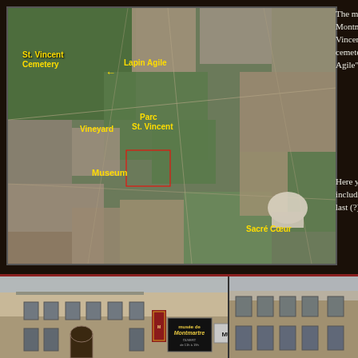[Figure (map): Aerial/satellite view of Montmartre neighborhood in Paris, with yellow labels indicating St. Vincent Cemetery, Lapin Agile, Vineyard, Parc St. Vincent, Museum, and Sacré Cœur. A red rectangle outlines the Museum location.]
The museum is near the Montmartre vineyard, the St. Vincent park (see previous page), the cemetery (see previous page), the Lapin Agile" (see previous page).
Here you can see several things, including a sculpture garden and the last (?) rose of th...
[Figure (photo): Exterior photograph of the Musée de Montmartre building, showing a stone facade with arched entrance, windows, red signs, and a Musée de Montmartre sign and storefront.]